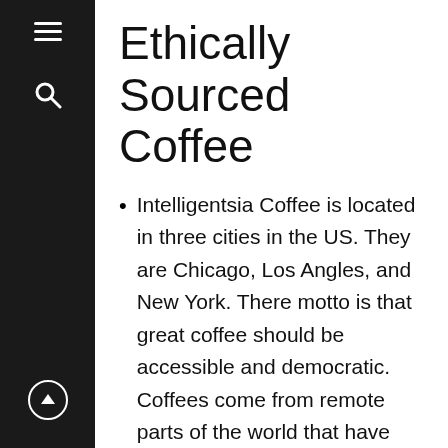Ethically Sourced Coffee
Intelligentsia Coffee is located in three cities in the US. They are Chicago, Los Angles, and New York. There motto is that great coffee should be accessible and democratic. Coffees come from remote parts of the world that have great environmental conditions to grow coffee. They work closely with coffee growers and farmers to grow the best coffee around.